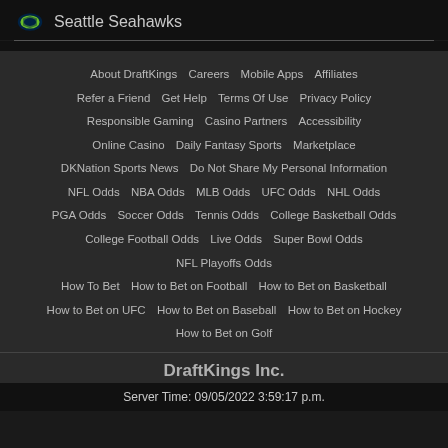Seattle Seahawks
About DraftKings · Careers · Mobile Apps · Affiliates · Refer a Friend · Get Help · Terms Of Use · Privacy Policy · Responsible Gaming · Casino Partners · Accessibility · Online Casino · Daily Fantasy Sports · Marketplace · DKNation Sports News · Do Not Share My Personal Information · NFL Odds · NBA Odds · MLB Odds · UFC Odds · NHL Odds · PGA Odds · Soccer Odds · Tennis Odds · College Basketball Odds · College Football Odds · Live Odds · Super Bowl Odds · NFL Playoffs Odds · How To Bet · How to Bet on Football · How to Bet on Basketball · How to Bet on UFC · How to Bet on Baseball · How to Bet on Hockey · How to Bet on Golf
DraftKings Inc.
Server Time: 09/05/2022 3:59:17 p.m.